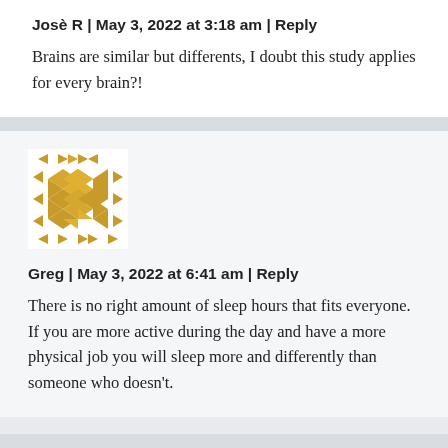Josè R | May 3, 2022 at 3:18 am | Reply
Brains are similar but differents, I doubt this study applies for every brain?!
[Figure (illustration): Geometric mosaic avatar in gold/amber colors with diamond and triangle patterns]
Greg | May 3, 2022 at 6:41 am | Reply
There is no right amount of sleep hours that fits everyone. If you are more active during the day and have a more physical job you will sleep more and differently than someone who doesn't.